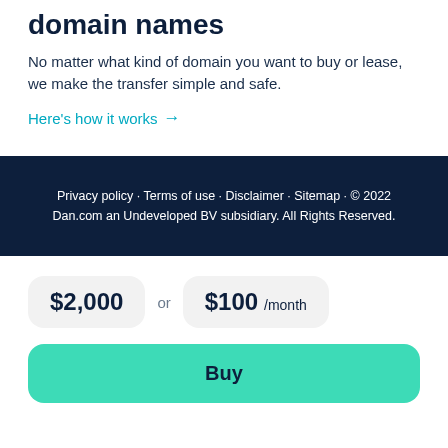domain names
No matter what kind of domain you want to buy or lease, we make the transfer simple and safe.
Here's how it works →
Privacy policy · Terms of use · Disclaimer · Sitemap · © 2022 Dan.com an Undeveloped BV subsidiary. All Rights Reserved.
$2,000 or $100 /month
Buy